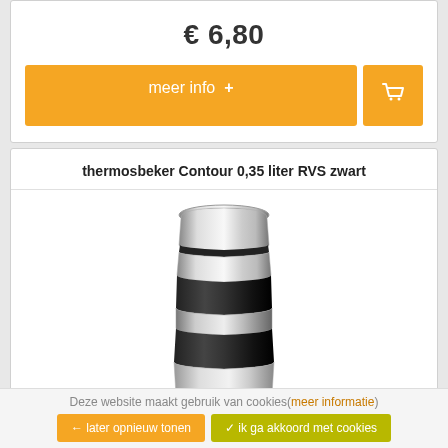€ 6,80
meer info +
thermosbeker Contour 0,35 liter RVS zwart
[Figure (photo): A stainless steel and black thermosbeker (thermos travel mug), Contour 0.35 liter, with alternating silver metallic and matte black bands on its cylindrical body.]
Deze website maakt gebruik van cookies(meer informatie)
← later opnieuw tonen
✔ ik ga akkoord met cookies